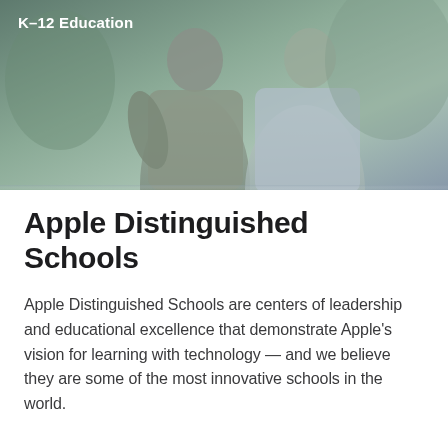[Figure (photo): Two students or young people photographed from behind/side, wearing casual clothes (grey hoodie and light blue/grey jacket), with a muted green-grey outdoor background. K–12 Education label overlaid in white text at top left.]
K–12 Education
Apple Distinguished Schools
Apple Distinguished Schools are centers of leadership and educational excellence that demonstrate Apple's vision for learning with technology — and we believe they are some of the most innovative schools in the world.